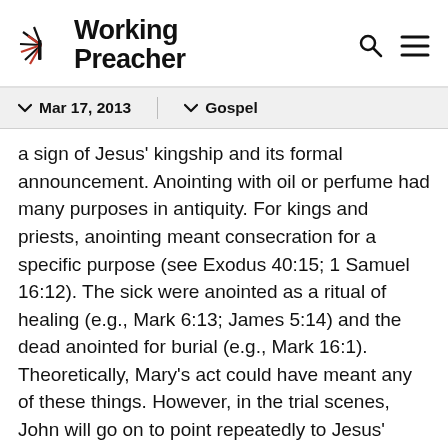Working Preacher
Mar 17, 2013   Gospel
a sign of Jesus' kingship and its formal announcement. Anointing with oil or perfume had many purposes in antiquity. For kings and priests, anointing meant consecration for a specific purpose (see Exodus 40:15; 1 Samuel 16:12). The sick were anointed as a ritual of healing (e.g., Mark 6:13; James 5:14) and the dead anointed for burial (e.g., Mark 16:1). Theoretically, Mary's act could have meant any of these things. However, in the trial scenes, John will go on to point repeatedly to Jesus' kingship. Because of this literary context, Mary's actions anticipate and